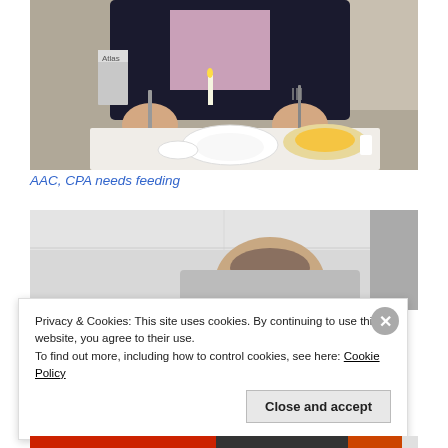[Figure (photo): Person sitting at a table on an airplane or similar setting, holding a knife and fork, with food dishes in front of them including a white plate and a bowl with chips/potato wedges. An Atlas book visible in background.]
AAC, CPA needs feeding
[Figure (photo): Partial view of a person's head from above, appears to be in a seated/reclined position.]
Privacy & Cookies: This site uses cookies. By continuing to use this website, you agree to their use.
To find out more, including how to control cookies, see here: Cookie Policy
Close and accept